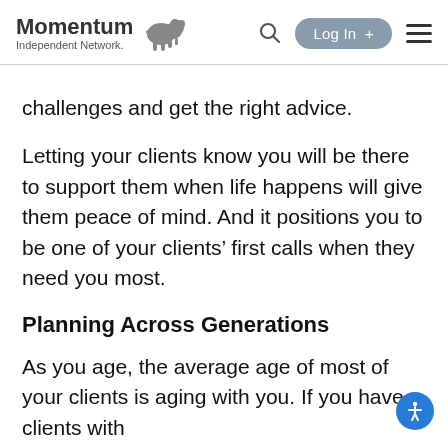Momentum Independent Network — Log In + [search] [menu]
challenges and get the right advice.
Letting your clients know you will be there to support them when life happens will give them peace of mind. And it positions you to be one of your clients’ first calls when they need you most.
Planning Across Generations
As you age, the average age of most of your clients is aging with you. If you have clients with